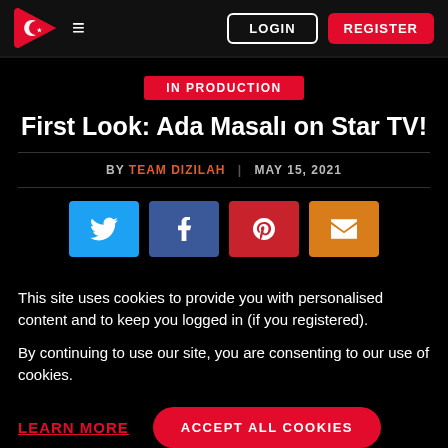LOGIN | REGISTER
IN PRODUCTION
First Look: Ada Masalı on Star TV!
BY TEAM DIZILAH | MAY 15, 2021
[Figure (other): Social share buttons: Twitter, Facebook, Pinterest, Email]
This site uses cookies to provide you with personalised content and to keep you logged in (if you registered).
By continuing to use our site, you are consenting to our use of cookies.
LEARN MORE | ACCEPT ALL COOKIES